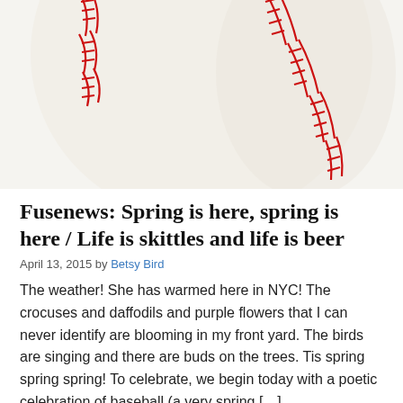[Figure (photo): Close-up photograph of a baseball showing white leather and red stitching, cropped at the top of the page.]
Fusenews: Spring is here, spring is here / Life is skittles and life is beer
April 13, 2015 by Betsy Bird
The weather!  She has warmed here in NYC!  The crocuses and daffodils and purple flowers that I can never identify are blooming in my front yard.  The birds are singing and there are buds on the trees.  Tis spring spring spring!  To celebrate, we begin today with a poetic celebration of baseball (a very spring […]